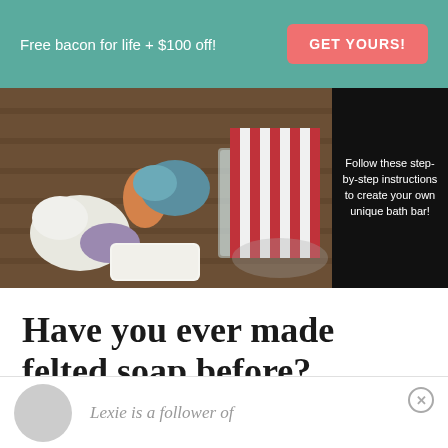Free bacon for life + $100 off! GET YOURS!
[Figure (photo): Photo of felted soap materials including colorful wool fibers, a white bar of soap, a striped red and white cloth, and a glass container on a wooden rack. Right side has dark overlay with text: Follow these step-by-step instructions to create your own unique bath bar!]
Have you ever made felted soap before?
Lexie is a follower of